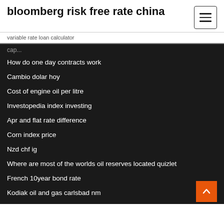bloomberg risk free rate china
variable rate loan calculator
How do one day contracts work
Cambio dolar hoy
Cost of engine oil per litre
Investopedia index investing
Apr and flat rate difference
Corn index price
Nzd chf ig
Where are most of the worlds oil reserves located quizlet
French 10year bond rate
Kodiak oil and gas carlsbad nm